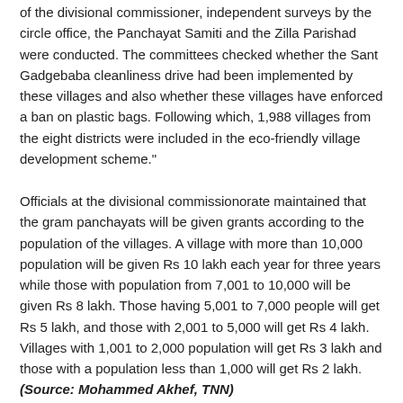of the divisional commissioner, independent surveys by the circle office, the Panchayat Samiti and the Zilla Parishad were conducted. The committees checked whether the Sant Gadgebaba cleanliness drive had been implemented by these villages and also whether these villages have enforced a ban on plastic bags. Following which, 1,988 villages from the eight districts were included in the eco-friendly village development scheme."
Officials at the divisional commissionorate maintained that the gram panchayats will be given grants according to the population of the villages. A village with more than 10,000 population will be given Rs 10 lakh each year for three years while those with population from 7,001 to 10,000 will be given Rs 8 lakh. Those having 5,001 to 7,000 people will get Rs 5 lakh, and those with 2,001 to 5,000 will get Rs 4 lakh. Villages with 1,001 to 2,000 population will get Rs 3 lakh and those with a population less than 1,000 will get Rs 2 lakh. (Source: Mohammed Akhef, TNN)